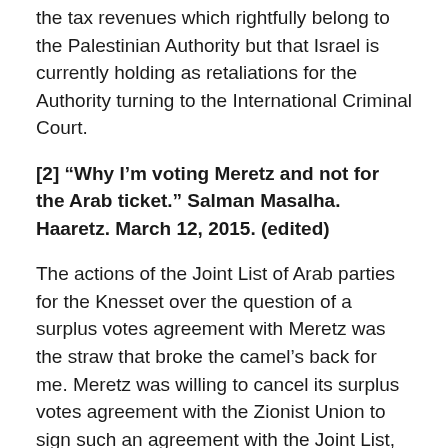the tax revenues which rightfully belong to the Palestinian Authority but that Israel is currently holding as retaliations for the Authority turning to the International Criminal Court.
[2] “Why I’m voting Meretz and not for the Arab ticket.” Salman Masalha. Haaretz. March 12, 2015. (edited)
The actions of the Joint List of Arab parties for the Knesset over the question of a surplus votes agreement with Meretz was the straw that broke the camel’s back for me. Meretz was willing to cancel its surplus votes agreement with the Zionist Union to sign such an agreement with the Joint List, just to prevent tens of thousands of votes from going to waste – but the Joint List refused….
I admit that I boycotted recent elections, and that I recently used this platform to call for boycotting the present